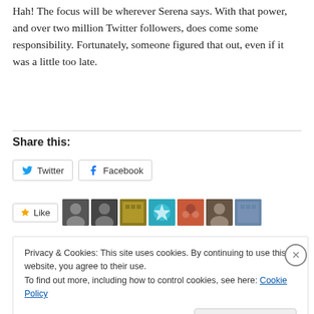Hah! The focus will be wherever Serena says. With that power, and over two million Twitter followers, does come some responsibility. Fortunately, someone figured that out, even if it was a little too late.
Share this:
[Figure (screenshot): Twitter and Facebook share buttons]
[Figure (screenshot): Like button with user avatars]
Privacy & Cookies: This site uses cookies. By continuing to use this website, you agree to their use.
To find out more, including how to control cookies, see here: Cookie Policy
Close and accept